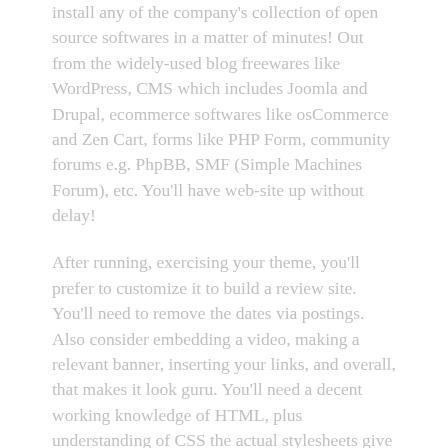install any of the company's collection of open source softwares in a matter of minutes! Out from the widely-used blog freewares like WordPress, CMS which includes Joomla and Drupal, ecommerce softwares like osCommerce and Zen Cart, forms like PHP Form, community forums e.g. PhpBB, SMF (Simple Machines Forum), etc. You'll have web-site up without delay!
After running, exercising your theme, you'll prefer to customize it to build a review site. You'll need to remove the dates via postings. Also consider embedding a video, making a relevant banner, inserting your links, and overall, that makes it look guru. You'll need a decent working knowledge of HTML, plus understanding of CSS the actual stylesheets give good results.
So go ahead and take extra effort and try good WordPress themes which incorporate virtually all suggestions. Well-liked that the first theme you utilize isn't quite right. We can typically always try another theme and refine it come up with the best use products that theme has to offer.